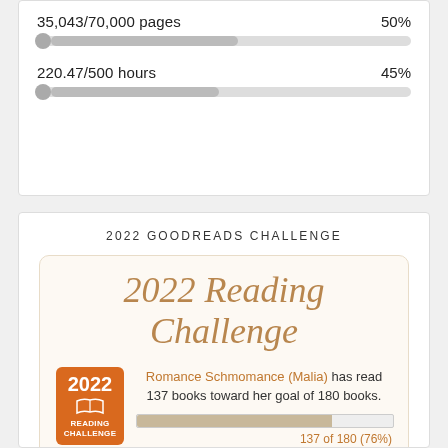35,043/70,000 pages — 50%
220.47/500 hours — 45%
2022 GOODREADS CHALLENGE
[Figure (infographic): 2022 Reading Challenge badge and progress. Romance Schmomance (Malia) has read 137 books toward her goal of 180 books. 137 of 180 (76%). view books.]
2022 Reading Challenge
Romance Schmomance (Malia) has read 137 books toward her goal of 180 books.
137 of 180 (76%)
view books